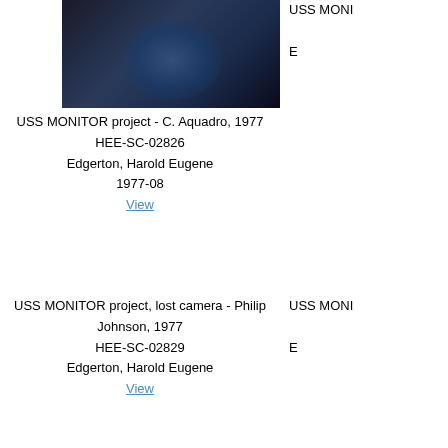[Figure (photo): Dark photograph showing a person in a blue patterned shirt, USS MONITOR project, 1977]
USS MONITOR project - C. Aquadro, 1977
HEE-SC-02826
Edgerton, Harold Eugene
1977-08
View
USS MONI...
E...
USS MONITOR project, lost camera - Philip Johnson, 1977
HEE-SC-02829
Edgerton, Harold Eugene
View
USS MONI...
E...